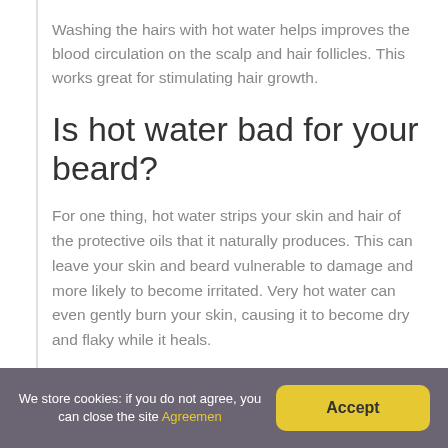Washing the hairs with hot water helps improves the blood circulation on the scalp and hair follicles. This works great for stimulating hair growth.
Is hot water bad for your beard?
For one thing, hot water strips your skin and hair of the protective oils that it naturally produces. This can leave your skin and beard vulnerable to damage and more likely to become irritated. Very hot water can even gently burn your skin, causing it to become dry and flaky while it heals.
We store cookies: if you do not agree, you can close the site Agreement